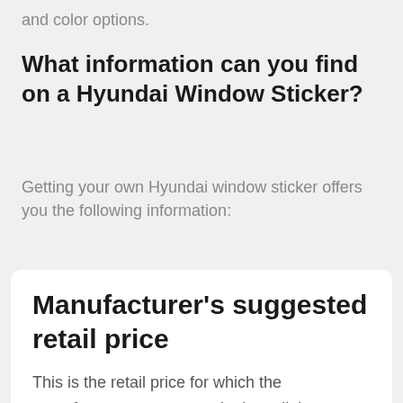and color options.
What information can you find on a Hyundai Window Sticker?
Getting your own Hyundai window sticker offers you the following information:
Manufacturer's suggested retail price
This is the retail price for which the manufacturer suggests a dealer sell the vehicle which is different from the invoice price.